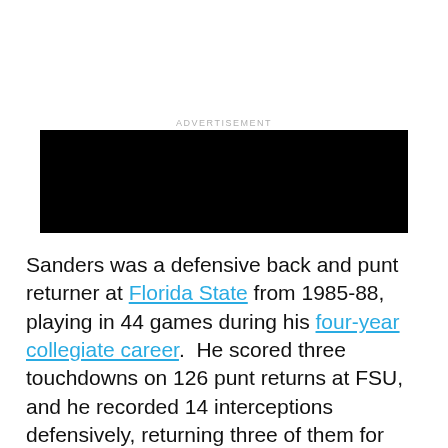ADVERTISEMENT
[Figure (other): Black advertisement banner block]
Sanders was a defensive back and punt returner at Florida State from 1985-88, playing in 44 games during his four-year collegiate career.  He scored three touchdowns on 126 punt returns at FSU, and he recorded 14 interceptions defensively, returning three of them for touchdowns. He was a consensus All-American in